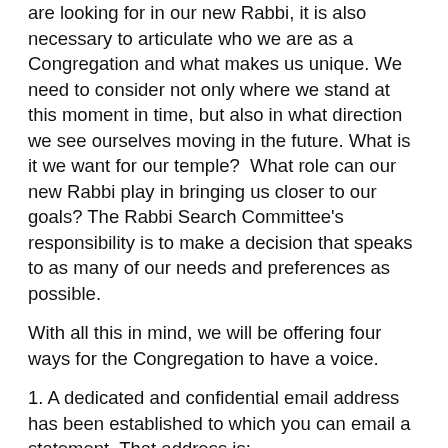are looking for in our new Rabbi, it is also necessary to articulate who we are as a Congregation and what makes us unique. We need to consider not only where we stand at this moment in time, but also in what direction we see ourselves moving in the future. What is it we want for our temple?  What role can our new Rabbi play in bringing us closer to our goals? The Rabbi Search Committee's responsibility is to make a decision that speaks to as many of our needs and preferences as possible.
With all this in mind, we will be offering four ways for the Congregation to have a voice.
1. A dedicated and confidential email address has been established to which you can email a statement. That address is: RabbiSearch@vassartemple.org.
Your comments will be shared within the committee; if you ask for anonymity, your request will be respected.
2. Written statements can also be sent to or dropped off at the Temple Office;  please place “Rabbi Search” on the outside of the envelope and it will be given to the Chair.
3. You can...